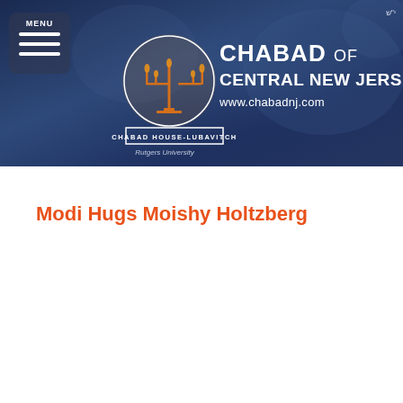[Figure (screenshot): Chabad of Central New Jersey website header banner with logo, menorah emblem, site name, and URL www.chabadnj.com. Includes a MENU button on the left, Chabad House-Lubavitch at Rutgers University subtitle, and Hebrew text in the upper right.]
Modi Hugs Moishy Holtzberg